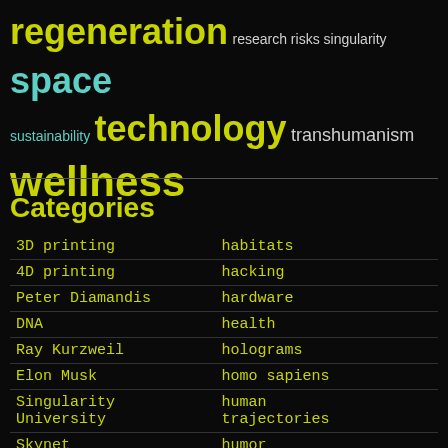[Figure (infographic): Word cloud with terms related to futurism and technology in various colors and sizes: regeneration (large yellow), research risks singularity (white/small), space (large teal), sustainability (teal), technology (large yellow), transhumanism (medium white), wellness (very large yellow)]
Categories
| Category (left) | Category (right) |
| --- | --- |
| 3D printing | habitats |
| 4D printing | hacking |
| Peter Diamandis | hardware |
| DNA | health |
| Ray Kurzweil | holograms |
| Elon Musk | homo sapiens |
| Singularity University | human trajectories |
| Skynet | humor |
| Mark Zuckerberg | information science |
| aging |  |
| alien life | innovation |
| anti-gravity | internet |